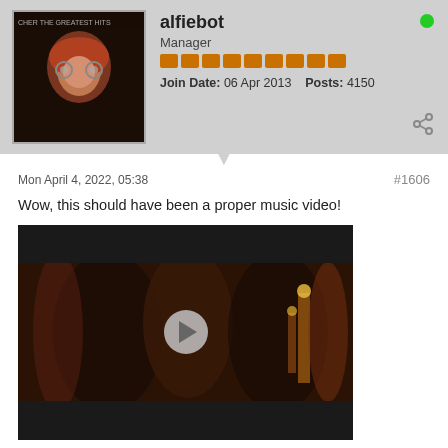alfiebot | Manager | Join Date: 06 Apr 2013 | Posts: 4150
Mon April 4, 2022, 05:38
#1606
Wow, this should have been a proper music video!
[Figure (screenshot): Embedded video player showing a dark scene with figures, a play button overlay in the center]
Cher